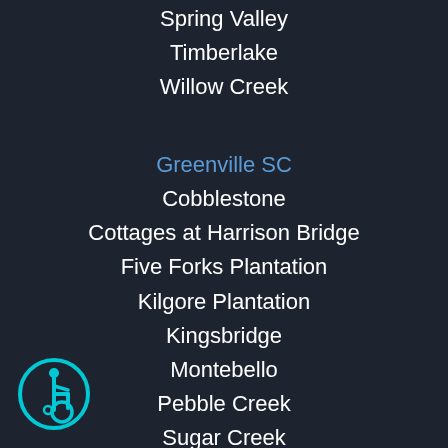Spring Valley
Timberlake
Willow Creek
Greenville SC
Cobblestone
Cottages at Harrison Bridge
Five Forks Plantation
Kilgore Plantation
Kingsbridge
Montebello
Pebble Creek
Sugar Creek
The Cliffs
Thornblade
Rock Hill SC
Chester
Clover
[Figure (illustration): Accessibility icon: wheelchair user symbol in cyan on dark circular background]